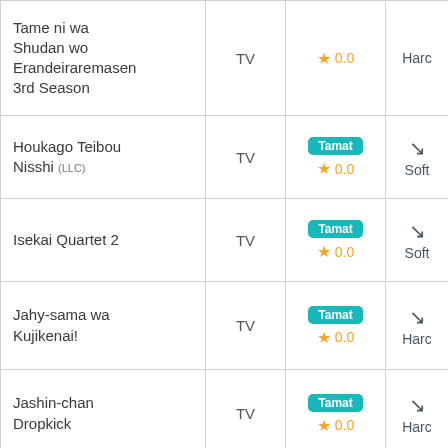| Title | Type | Score | Sub |
| --- | --- | --- | --- |
| Tame ni wa Shudan wo Erandeiraremasen 3rd Season | TV | 0.0 | Harc |
| Houkago Teibou Nisshi (LLC) | TV | Tamat / 0.0 | Soft |
| Isekai Quartet 2 | TV | Tamat / 0.0 | Soft |
| Jahy-sama wa Kujikenai! | TV | Tamat / 0.0 | Harc |
| Jashin-chan Dropkick | TV | Tamat / 0.0 | Harc |
| Jashin-chan Dropkick' (LLC) | TV | Tamat / 0.0 | Soft |